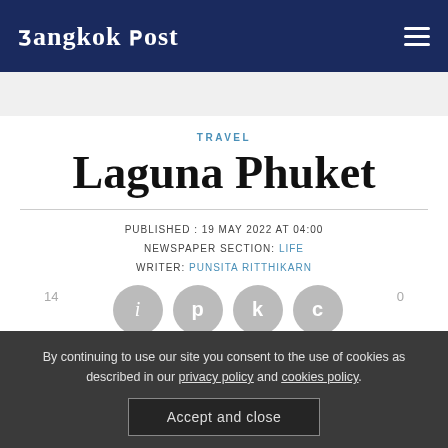Bangkok Post
TRAVEL
Laguna Phuket
PUBLISHED : 19 MAY 2022 AT 04:00
NEWSPAPER SECTION: LIFE
WRITER: PUNSITA RITTHIKARN
14   0
By continuing to use our site you consent to the use of cookies as described in our privacy policy and cookies policy.
Accept and close